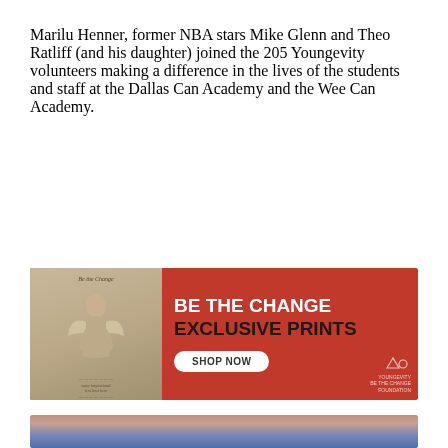Marilu Henner, former NBA stars Mike Glenn and Theo Ratliff (and his daughter) joined the 205 Youngevity volunteers making a difference in the lives of the students and staff at the Dallas Can Academy and the Wee Can Academy.
[Figure (infographic): Red advertisement banner for 'Be The Change Exclusive Prints' with an angel statue image on the left, bold white and dark text on the right, and a 'Shop Now' button. Youngevity/Be The Change Foundation logo in bottom right corner.]
[Figure (photo): Partial photo at the bottom of the page showing people, partially cropped.]